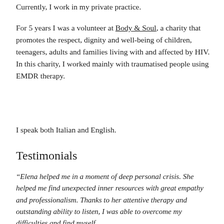Currently, I work in my private practice.
For 5 years I was a volunteer at Body & Soul, a charity that promotes the respect, dignity and well-being of children, teenagers, adults and families living with and affected by HIV.
In this charity, I worked mainly with traumatised people using EMDR therapy.
I speak both Italian and English.
Testimonials
“Elena helped me in a moment of deep personal crisis. She helped me find unexpected inner resources with great empathy and professionalism. Thanks to her attentive therapy and outstanding ability to listen, I was able to overcome my difficulties and find myself